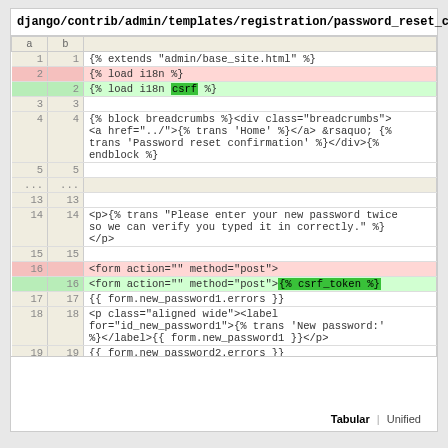django/contrib/admin/templates/registration/password_reset_confirm.html
| a | b |  |
| --- | --- | --- |
| 1 | 1 | {% extends "admin/base_site.html" %} |
| 2 |  | {% load i18n %} |
|  | 2 | {% load i18n csrf %} |
| 3 | 3 |  |
| 4 | 4 | {% block breadcrumbs %}<div class="breadcrumbs"><a href="../">{%  trans 'Home' %}</a> &rsaquo; {% trans 'Password reset confirmation' %}</div>{% endblock %} |
| 5 | 5 |  |
| ... | ... |  |
| 13 | 13 |  |
| 14 | 14 | <p>{% trans "Please enter your new password twice so we can verify you typed it in correctly." %}</p> |
| 15 | 15 |  |
| 16 |  | <form action="" method="post"> |
|  | 16 | <form action="" method="post">{% csrf_token %} |
| 17 | 17 | {{ form.new_password1.errors }} |
| 18 | 18 | <p class="aligned wide"><label for="id_new_password1">{% trans 'New password:' %}</label>{{ form.new_password1 }}</p> |
| 19 | 19 | {{ form.new_password2.errors }} |
Tabular | Unified